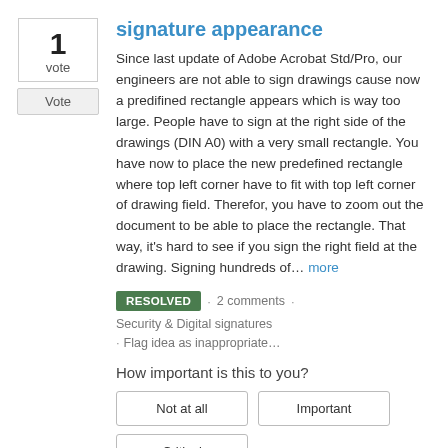[Figure (other): Vote counter box showing '1 vote' with a Vote button below]
signature appearance
Since last update of Adobe Acrobat Std/Pro, our engineers are not able to sign drawings cause now a predifined rectangle appears which is way too large. People have to sign at the right side of the drawings (DIN A0) with a very small rectangle. You have now to place the new predefined rectangle where top left corner have to fit with top left corner of drawing field. Therefor, you have to zoom out the document to be able to place the rectangle. That way, it's hard to see if you sign the right field at the drawing. Signing hundreds of… more
RESOLVED · 2 comments · Security & Digital signatures · Flag idea as inappropriate…
How important is this to you?
Not at all   Important   Critical